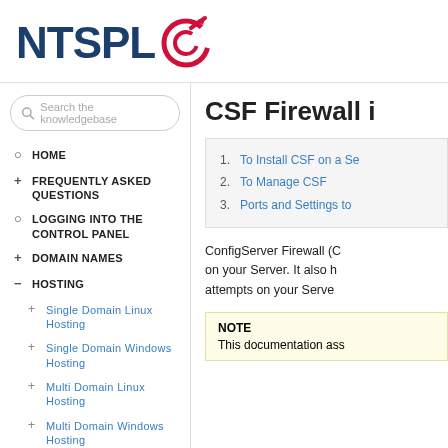[Figure (logo): NTSPL logo with dark blue bold text and red target/arrow icon]
[Figure (screenshot): Search box with placeholder text 'Search the knowledgebase']
HOME
+ FREQUENTLY ASKED QUESTIONS
LOGGING INTO THE CONTROL PANEL
+ DOMAIN NAMES
- HOSTING
+ Single Domain Linux Hosting
+ Single Domain Windows Hosting
+ Multi Domain Linux Hosting
+ Multi Domain Windows Hosting
CSF Firewall i
1. To Install CSF on a Se
2. To Manage CSF
3. Ports and Settings to
ConfigServer Firewall (C on your Server. It also h attempts on your Serve
NOTE
This documentation ass